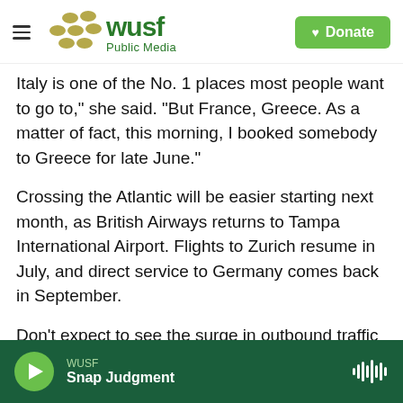WUSF Public Media | Donate
Italy is one of the No. 1 places most people want to go to,” she said. “But France, Greece. As a matter of fact, this morning, I booked somebody to Greece for late June.”
Crossing the Atlantic will be easier starting next month, as British Airways returns to Tampa International Airport. Flights to Zurich resume in July, and direct service to Germany comes back in September.
Don’t expect to see the surge in outbound traffic translate into visits to Florida right away. The U.S. remains closed to most international visitors
WUSF | Snap Judgment